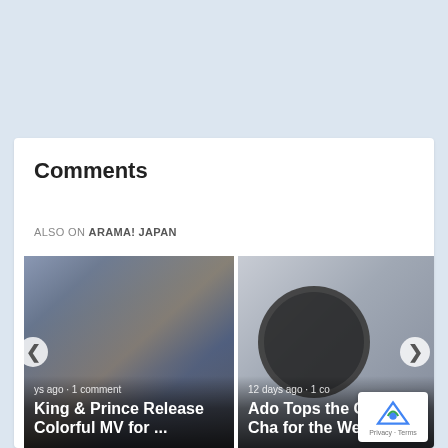Comments
ALSO ON ARAMA! JAPAN
[Figure (photo): Article card showing 5 male K-pop/J-pop artists standing together. Caption reads 'King & Prince Release Colorful MV for ...' with metadata 'days ago · 1 comment']
[Figure (photo): Article card showing a dark circle logo/graphic. Caption reads 'Ado Tops the Oricon Cha... for the Wee...' with metadata '12 days ago · 1 co']